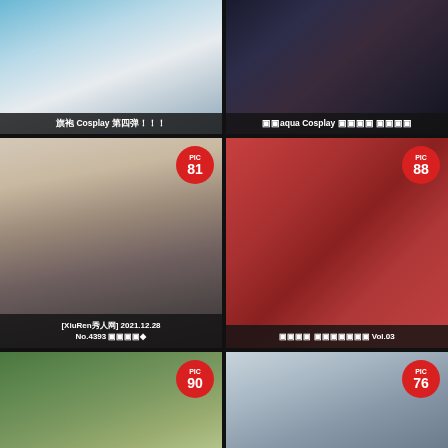[Figure (photo): Cosplay photo card with label: 旗袍 Cosplay 第四弹！！！]
[Figure (photo): Dark cosplay photo card with label: ▣▣aqua Cosplay ▣▣▣▣ ▣▣▣▣]
[Figure (photo): Portrait photo card with PIC 81 badge, label: [XiuRen秀人网] 2021.12.28 No.4393 ▣▣▣▣▣◆]
[Figure (photo): Red pattern photo card with PIC 88 badge, label: ▣▣▣▣ ▣▣▣▣▣▣▣ Vol.03]
[Figure (photo): Outdoor portrait photo card with PIC 90 badge]
[Figure (photo): Portrait photo card with PIC 76 badge]